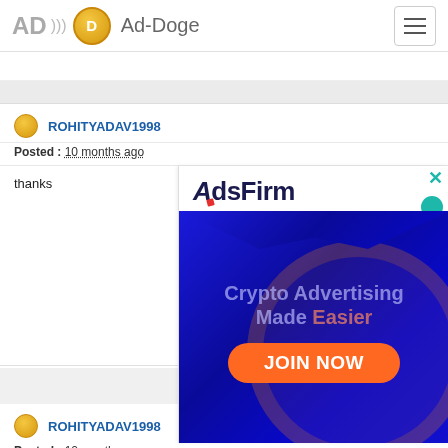Ad-Doge
[Figure (screenshot): Ad-Doge website header with logo (AD with waves, gold coin, Ad-Doge text) and hamburger menu button]
ROHITYADAV1998
Posted : 10 months ago
thanks
[Figure (advertisement): AdsFirm advertisement overlay showing logo and crypto advertising banner with JOIN NOW button. Text: Crypto Advertising Made Easier, JOIN NOW]
ROHITYADAV1998
Posted : 10 months ago